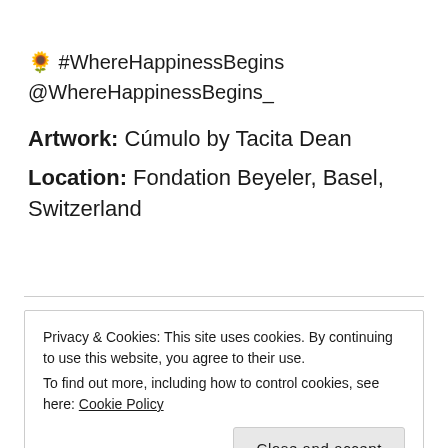🌻 #WhereHappinessBegins @WhereHappinessBegins_
Artwork: Cúmulo by Tacita Dean
Location: Fondation Beyeler, Basel, Switzerland
Privacy & Cookies: This site uses cookies. By continuing to use this website, you agree to their use. To find out more, including how to control cookies, see here: Cookie Policy
Close and accept